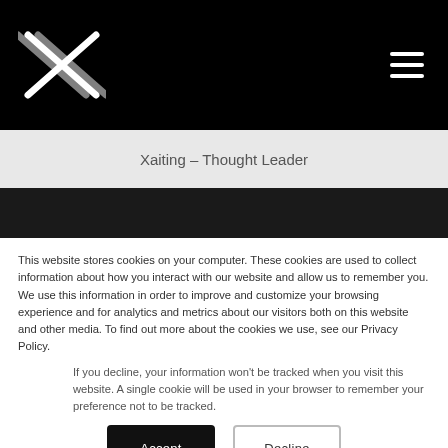[Figure (logo): Xaiting company logo — stylized X mark in white on black background, top-left of navigation bar]
Xaiting – Thought Leader
This website stores cookies on your computer. These cookies are used to collect information about how you interact with our website and allow us to remember you. We use this information in order to improve and customize your browsing experience and for analytics and metrics about our visitors both on this website and other media. To find out more about the cookies we use, see our Privacy Policy.
If you decline, your information won't be tracked when you visit this website. A single cookie will be used in your browser to remember your preference not to be tracked.
Accept
Decline